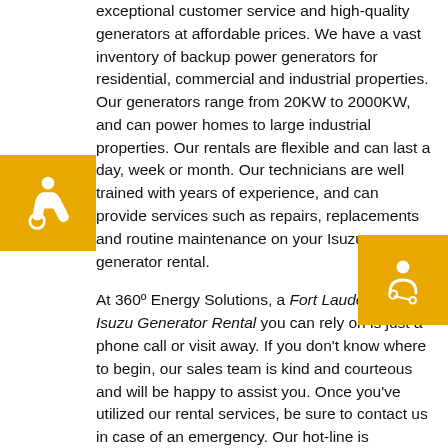exceptional customer service and high-quality generators at affordable prices. We have a vast inventory of backup power generators for residential, commercial and industrial properties. Our generators range from 20KW to 2000KW, and can power homes to large industrial properties. Our rentals are flexible and can last a day, week or month. Our technicians are well trained with years of experience, and can provide services such as repairs, replacements and routine maintenance on your Isuzu generator rental.
At 360º Energy Solutions, a Fort Lauderdale Isuzu Generator Rental you can rely on is just a phone call or visit away. If you don't know where to begin, our sales team is kind and courteous and will be happy to assist you. Once you've utilized our rental services, be sure to contact us in case of an emergency. Our hot-line is available for any kind of emergency and operates 24/7. Our Isuzu generator rentals provide